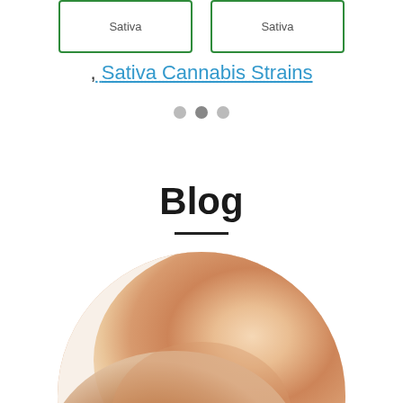[Figure (other): Two green-bordered card boxes each labeled 'Sativa']
, Sativa Cannabis Strains
[Figure (other): Three pagination dots, middle one darker/active]
Blog
[Figure (photo): Circular cropped photo showing a person's skin/arm in close-up, warm skin tones against white fabric background]